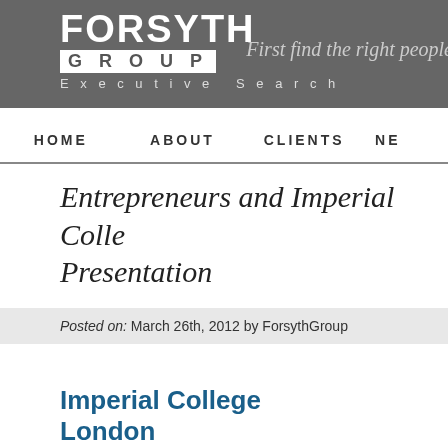FORSYTH GROUP Executive Search — First find the right people
HOME   ABOUT   CLIENTS   NE
Entrepreneurs and Imperial College Presentation
Posted on: March 26th, 2012 by ForsythGroup
[Figure (logo): Imperial College London logo in blue text]